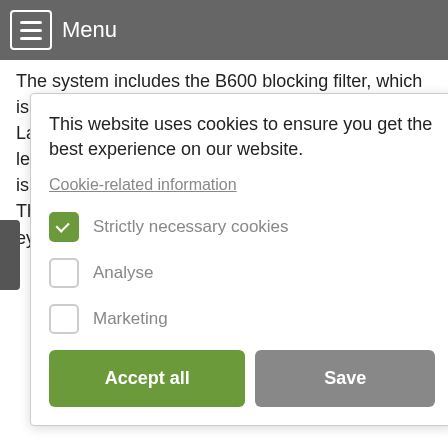Menu
The system includes the B600 blocking filter, which is usable for telescopes up to 540mm focal length. Larger blocking filters suitable for longer focal length are also optional available. The blocking filter is installed in a 90° star diagonal for 1.25" focuser. This diagonal is equipped with a reception for 1.25" eyepieces and a T2
This website uses cookies to ensure you get the best experience on our website.
Cookie-related information
Strictly necessary cookies
Analyse
Marketing
Accept all
Save